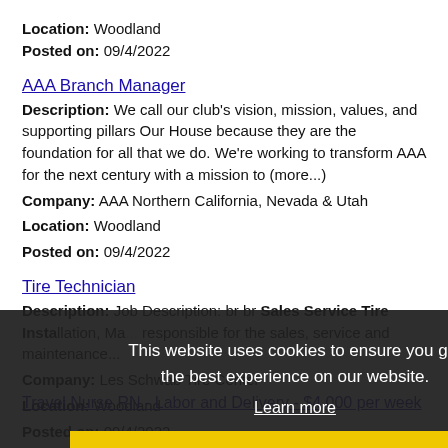Location: Woodland
Posted on: 09/4/2022
AAA Branch Manager
Description: We call our club's vision, mission, values, and supporting pillars Our House because they are the foundation for all that we do. We're working to transform AAA for the next century with a mission to (more...)
Company: AAA Northern California, Nevada & Utah
Location: Woodland
Posted on: 09/4/2022
Tire Technician
Description: Job Description: br br Sales Service Tire Installation, Ma... responsible for the sales, service and maintenance...
Company: Les Schwab Tire Center
Location: Woodland
Posted on: 09/4/2022
This website uses cookies to ensure you get the best experience on our website. Learn more Got it!
Travel Nurse RN - Labor and Delivery - $4,000 per week
Description: Quality Nurses is seeking a travel nurse RN Labor and Delivery for a travel nursing job in Woodland, California. Job Description Requirements ul li Specialty: Labor and Delivery li